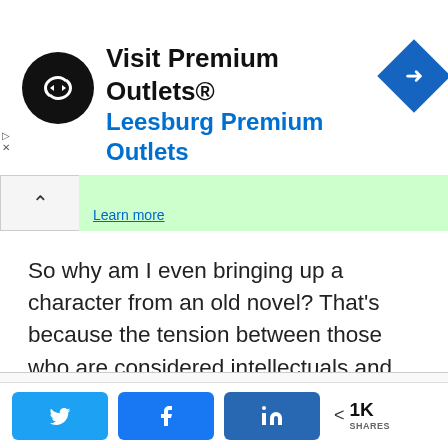[Figure (screenshot): Advertisement banner for Visit Premium Outlets / Leesburg Premium Outlets with a black circular logo with double arrows, blue diamond arrow icon on the right, and blue subtitle text.]
[Figure (screenshot): Collapsed green ad banner with a caret/chevron collapse button on the left and 'Learn more' link on green background.]
So why am I even bringing up a character from an old novel? That's because the tension between those who are considered intellectuals and many Filipinos, something Rizal depicted through the proverbial philosopher, has not disappeared after all these years, and it still very much manifests
Privacy & Cookies: This site uses cookies. By continuing to use this website, you agree to their use. To find out more, including how to control cookies, see here: Cookie Policy
[Figure (screenshot): Social sharing bar with Twitter, Facebook, LinkedIn buttons and share count showing 1K SHARES]